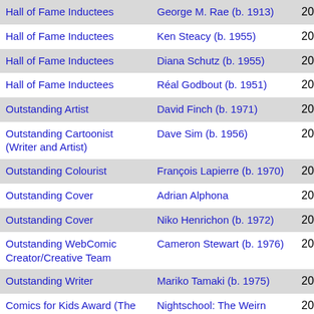| Category | Person/Work | Year |
| --- | --- | --- |
| Hall of Fame Inductees | George M. Rae (b. 1913) | 2009 |
| Hall of Fame Inductees | Ken Steacy (b. 1955) | 2009 |
| Hall of Fame Inductees | Diana Schutz (b. 1955) | 2009 |
| Hall of Fame Inductees | Réal Godbout (b. 1951) | 2009 |
| Outstanding Artist | David Finch (b. 1971) | 2009 |
| Outstanding Cartoonist (Writer and Artist) | Dave Sim (b. 1956) | 2009 |
| Outstanding Colourist | François Lapierre (b. 1970) | 2009 |
| Outstanding Cover | Adrian Alphona | 2009 |
| Outstanding Cover | Niko Henrichon (b. 1972) | 2009 |
| Outstanding WebComic Creator/Creative Team | Cameron Stewart (b. 1976) | 2009 |
| Outstanding Writer | Mariko Tamaki (b. 1975) | 2009 |
| Comics for Kids Award (The Dragon Award) | Nightschool: The Weirn Books (2009 | 2010 |